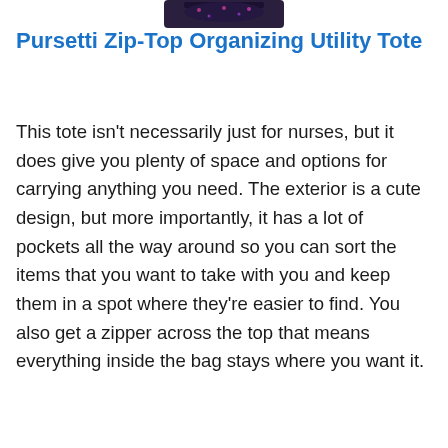[Figure (photo): Partial view of a Pursetti Zip-Top Organizing Utility Tote bag at the top of the page, showing the top portion of the bag.]
Pursetti Zip-Top Organizing Utility Tote
This tote isn't necessarily just for nurses, but it does give you plenty of space and options for carrying anything you need. The exterior is a cute design, but more importantly, it has a lot of pockets all the way around so you can sort the items that you want to take with you and keep them in a spot where they're easier to find. You also get a zipper across the top that means everything inside the bag stays where you want it.